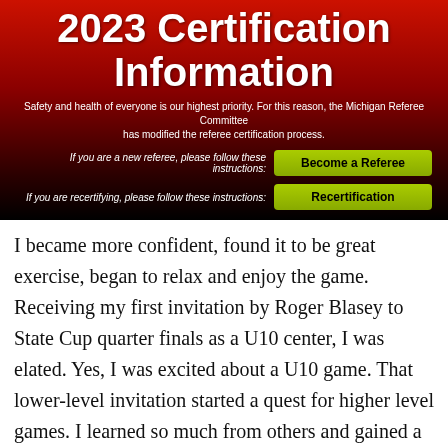2023 Certification Information
Safety and health of everyone is our highest priority. For this reason, the Michigan Referee Committee has modified the referee certification process.
If you are a new referee, please follow these instructions: [Become a Referee]
If you are recertifying, please follow these instructions: [Recertification]
I became more confident, found it to be great exercise, began to relax and enjoy the game. Receiving my first invitation by Roger Blasey to State Cup quarter finals as a U10 center, I was elated. Yes, I was excited about a U10 game. That lower-level invitation started a quest for higher level games. I learned so much from others and gained a new understanding of the steps to develop my referee skills.
I upgraded through the old system to become a Regional Referee (formerly Grade 1). So long, Falling. Shine. Hills and R...